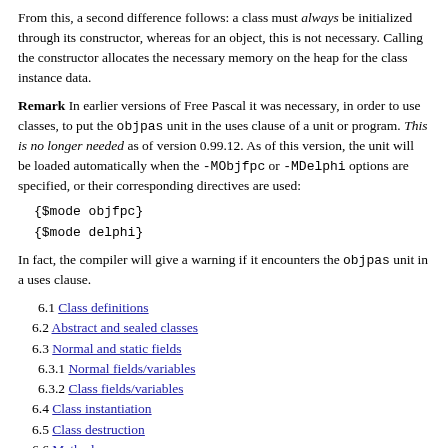From this, a second difference follows: a class must always be initialized through its constructor, whereas for an object, this is not necessary. Calling the constructor allocates the necessary memory on the heap for the class instance data.
Remark In earlier versions of Free Pascal it was necessary, in order to use classes, to put the objpas unit in the uses clause of a unit or program. This is no longer needed as of version 0.99.12. As of this version, the unit will be loaded automatically when the -MObjfpc or -MDelphi options are specified, or their corresponding directives are used:
In fact, the compiler will give a warning if it encounters the objpas unit in a uses clause.
6.1 Class definitions
6.2 Abstract and sealed classes
6.3 Normal and static fields
6.3.1 Normal fields/variables
6.3.2 Class fields/variables
6.4 Class instantiation
6.5 Class destruction
6.6 Methods